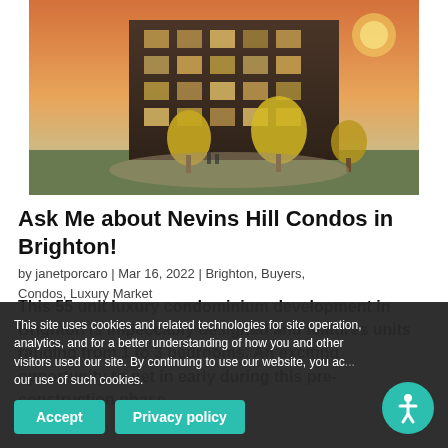[Figure (photo): Exterior rendering of Nevins Hill Condos — a modern multi-story residential building with warm lighting, golden autumn trees, and a landscaped courtyard at sunset.]
Ask Me about Nevins Hill Condos in Brighton!
by janetporcaro | Mar 16, 2022 | Brighton, Buyers, Condos, Luxury Market
This 55 unit luxury condominium development in Brighton is impeccably designed and features units ranging from 1 to 3 bedrooms. An exciting opportunity to get in early during this pre-construction phase.
The building will have exceptional amenities including a garage, elevator, fitness center, wo... pods, state o... an adjace... roof terrace that has sweeping city views. The
This site uses cookies and related technologies for site operation, analytics, and for a better understanding of how you and other visitors used our site. By continuing to use our website, you accept our use of such cookies.